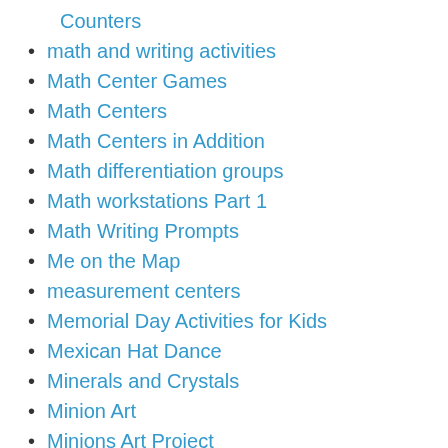Counters
math and writing activities
Math Center Games
Math Centers
Math Centers in Addition
Math differentiation groups
Math workstations Part 1
Math Writing Prompts
Me on the Map
measurement centers
Memorial Day Activities for Kids
Mexican Hat Dance
Minerals and Crystals
Minion Art
Minions Art Project
More Steve Jobs in Education!